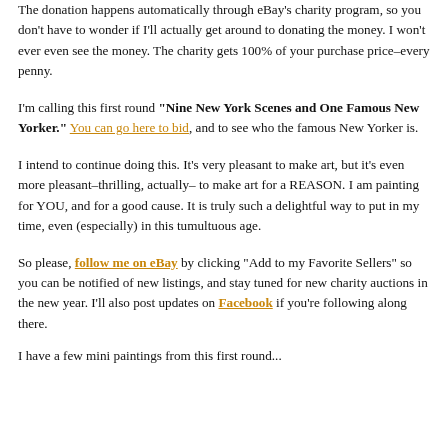The donation happens automatically through eBay's charity program, so you don't have to wonder if I'll actually get around to donating the money. I won't ever even see the money. The charity gets 100% of your purchase price–every penny.
I'm calling this first round "Nine New York Scenes and One Famous New Yorker." You can go here to bid, and to see who the famous New Yorker is.
I intend to continue doing this. It's very pleasant to make art, but it's even more pleasant–thrilling, actually– to make art for a REASON. I am painting for YOU, and for a good cause. It is truly such a delightful way to put in my time, even (especially) in this tumultuous age.
So please, follow me on eBay by clicking "Add to my Favorite Sellers" so you can be notified of new listings, and stay tuned for new charity auctions in the new year. I'll also post updates on Facebook if you're following along there.
I have a few mini paintings from this first round...